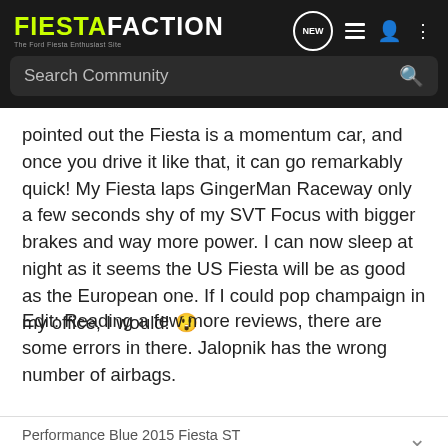FIESTAFACTION — The Ford Fiesta Enthusiast Site. Navigation: NEW, list, user, menu. Search Community
pointed out the Fiesta is a momentum car, and once you drive it like that, it can go remarkably quick! My Fiesta laps GingerMan Raceway only a few seconds shy of my SVT Focus with bigger brakes and way more power. I can now sleep at night as it seems the US Fiesta will be as good as the European one. If I could pop champaign in my office, I would! 😱
Edit: Reading a few more reviews, there are some errors in there. Jalopnik has the wrong number of airbags.
Performance Blue 2015 Fiesta ST
Performance White 1984 Mustang